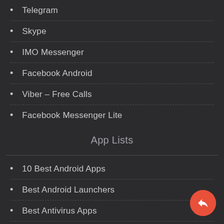Telegram
Skype
IMO Messenger
Facebook Android
Viber – Free Calls
Facebook Messenger Lite
App Lists
10 Best Android Apps
Best Android Launchers
Best Antivirus Apps
Best Battery Saver Apps